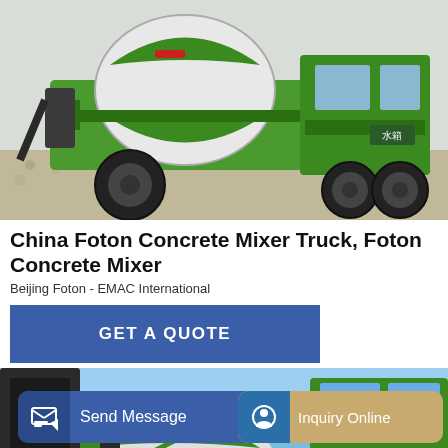[Figure (photo): Green Foton self-loading concrete mixer truck photographed outdoors against gravel background, showing drum, wheels and cab with Chinese characters 水箱 on side]
China Foton Concrete Mixer Truck, Foton Concrete Mixer
Beijing Foton - EMAC International
GET A QUOTE
[Figure (photo): Close-up of green Foton concrete mixer truck against clear blue sky, showing the loading chute, drum, and cab]
Send Message
Inquiry Online